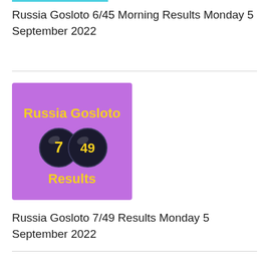Russia Gosloto 6/45 Morning Results Monday 5 September 2022
[Figure (illustration): Purple square image with text 'Russia Gosloto' in yellow, two lottery balls numbered 7 and 49, and text 'Results' in yellow at the bottom]
Russia Gosloto 7/49 Results Monday 5 September 2022